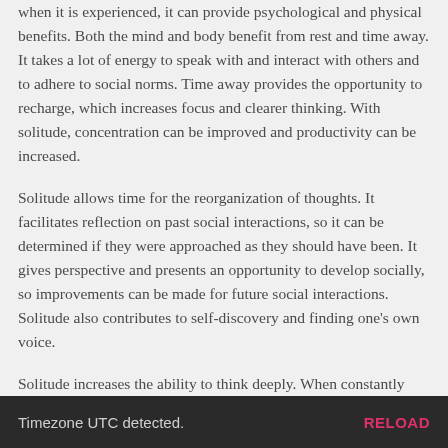when it is experienced, it can provide psychological and physical benefits. Both the mind and body benefit from rest and time away. It takes a lot of energy to speak with and interact with others and to adhere to social norms. Time away provides the opportunity to recharge, which increases focus and clearer thinking. With solitude, concentration can be improved and productivity can be increased.
Solitude allows time for the reorganization of thoughts. It facilitates reflection on past social interactions, so it can be determined if they were approached as they should have been. It gives perspective and presents an opportunity to develop socially, so improvements can be made for future social interactions. Solitude also contributes to self-discovery and finding one's own voice.
Solitude increases the ability to think deeply. When constantly involved in activities, people are unable to practice deep thought, and if they are spending all their time with others, chances are this is the case. Productivity and creativity benefit from deep thought and
Timezone UTC detected.    RELOAD